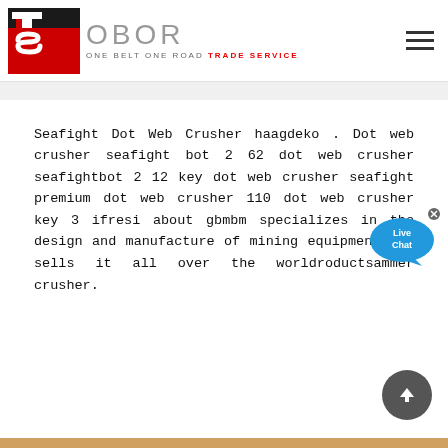OBOR - ONE BELT ONE ROAD TRADE SERVICE
Seafight Dot Web Crusher haagdeko . Dot web crusher seafight bot 2 62 dot web crusher seafightbot 2 12 key dot web crusher seafight premium dot web crusher 110 dot web crusher key 3 ifresi about gbmbm specializes in the design and manufacture of mining equipment and sells it all over the worldroductsammer crusher.